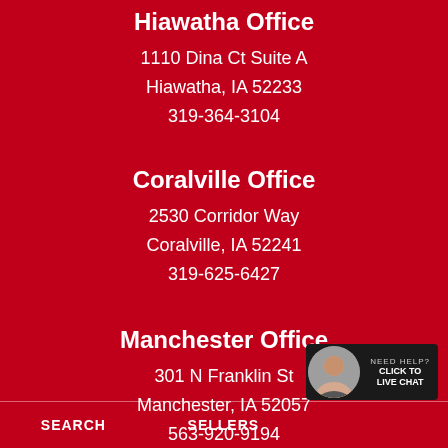Hiawatha Office
1110 Dina Ct Suite A
Hiawatha, IA 52233
319-364-3104
Coralville Office
2530 Corridor Way
Coralville, IA 52241
319-625-6427
Manchester Office
301 N Franklin St
Manchester, IA 52057
563-920-9194
SEARCH   SELLERS